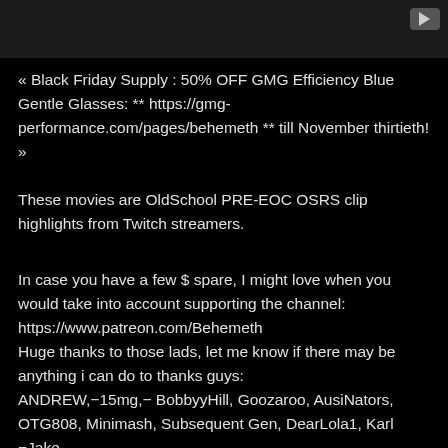[Figure (screenshot): Dark video thumbnail area with a YouTube play button icon in the top-right corner]
« Black Friday Supply : 50% OFF GMG Efficiency Blue Gentle Glasses: ** https://gmg-performance.com/pages/behemeth ** till November thirtieth! »
These movies are OldSchool PRE-EOC OSRS clip highlights from Twitch streamers.
In case you have a few $ spare, I might love when you would take into account supporting the channel:
https://www.patreon.com/Behemeth
Huge thanks to those lads, let me know if there may be anything i can do to thanks guys:
ANDREW,−15mg,− BobbyyHill, Goozaroo, AusiNators, OTG808, Minimash, Subsequent Gen, DearLola1, Karl −Jake, PsychedDude, JugOfBeer, Reknalp, Groovy PVM CC,